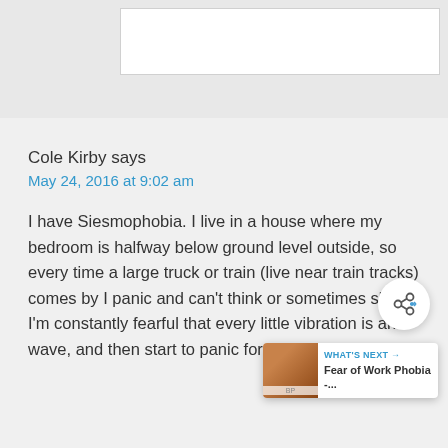Cole Kirby says
May 24, 2016 at 9:02 am
I have Siesmophobia. I live in a house where my bedroom is halfway below ground level outside, so every time a large truck or train (live near train tracks) comes by I panic and can't think or sometimes sleep. I'm constantly fearful that every little vibration is an S wave, and then start to panic for the P wave to strike.